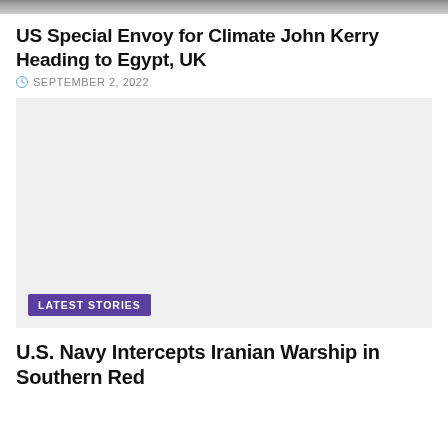[Figure (photo): Cropped top portion of a photo showing people, partially visible at the top of the page]
US Special Envoy for Climate John Kerry Heading to Egypt, UK
SEPTEMBER 2, 2022
[Figure (other): Advertisement or placeholder gray box with a 'LATEST STORIES' purple badge in the bottom left corner]
U.S. Navy Intercepts Iranian Warship in Southern Red